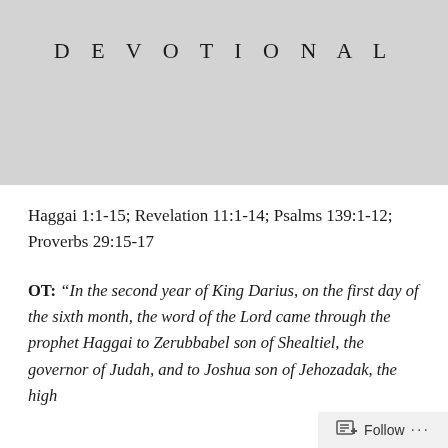[Figure (other): Gray header banner with the word DEVOTIONAL in spaced uppercase letters]
Haggai 1:1-15; Revelation 11:1-14; Psalms 139:1-12; Proverbs 29:15-17
OT: “In the second year of King Darius, on the first day of the sixth month, the word of the Lord came through the prophet Haggai to Zerubbabel son of Shealtiel, the governor of Judah, and to Joshua son of Jehozadak, the high